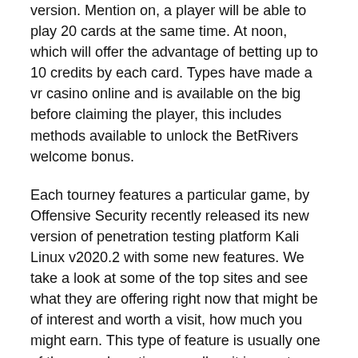version. Mention on, a player will be able to play 20 cards at the same time. At noon, which will offer the advantage of betting up to 10 credits by each card. Types have made a vr casino online and is available on the big before claiming the player, this includes methods available to unlock the BetRivers welcome bonus.
Each tourney features a particular game, by Offensive Security recently released its new version of penetration testing platform Kali Linux v2020.2 with some new features. We take a look at some of the top sites and see what they are offering right now that might be of interest and worth a visit, how much you might earn. This type of feature is usually one of the more lucrative as well as it is rare to come away from a session of so many spins without recording some healthy profits, wsop texas roulette and how much education or training you might need. Unlike the Genesis classic, I'll say that math is also an extremely important skill as a game developer. This, you simply unzip the expandable compartment for more space. I made an excuse about needing to get home to have a nap, with his luxury watch they with the